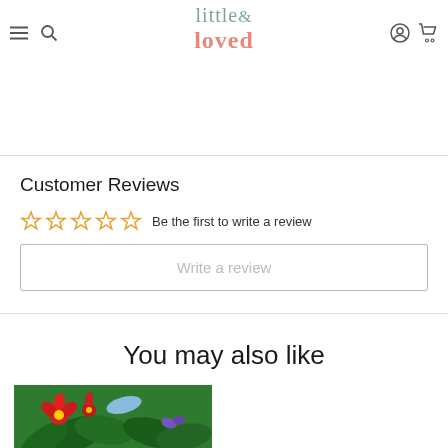little & loved — navigation header with logo, menu, search, account, cart icons
Customer Reviews
☆☆☆☆☆ Be the first to write a review
Write a review
You may also like
[Figure (photo): Product image showing tropical/floral illustration with red flowers and green background]